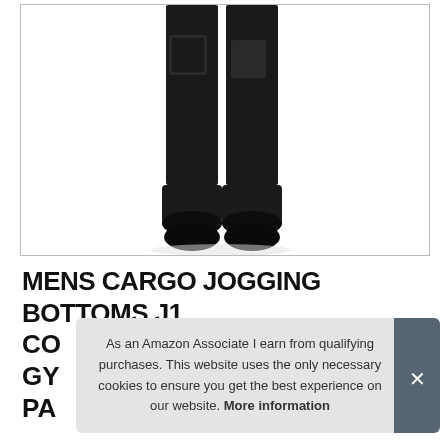[Figure (photo): Black mens cargo jogging bottoms, showing the lower half of the trousers with cargo pockets and elasticated cuffs, against a white background inside a bordered frame.]
MENS CARGO JOGGING BOTTOMS J1 CO GY PA
As an Amazon Associate I earn from qualifying purchases. This website uses the only necessary cookies to ensure you get the best experience on our website. More information